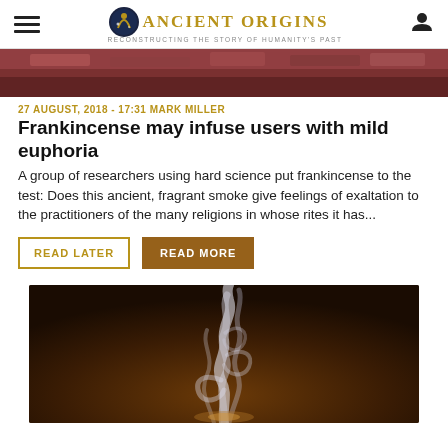Ancient Origins — Reconstructing the story of humanity's past
[Figure (photo): Top partial image of incense or ancient items with dark red/brown tones]
27 AUGUST, 2018 - 17:31 MARK MILLER
Frankincense may infuse users with mild euphoria
A group of researchers using hard science put frankincense to the test: Does this ancient, fragrant smoke give feelings of exaltation to the practitioners of the many religions in whose rites it has...
READ LATER   READ MORE
[Figure (photo): Photograph of white smoke swirling upward against a dark brown background, likely from incense]